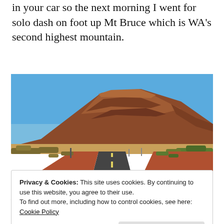in your car so the next morning I went for solo dash on foot up Mt Bruce which is WA's second highest mountain.
[Figure (photo): A straight outback road leading toward Mt Bruce, a large reddish-brown flat-topped mountain under a clear blue sky, with golden dry grassland and scrub on either side. Watermark reads © kueto.com.au]
Mt Bruce
Privacy & Cookies: This site uses cookies. By continuing to use this website, you agree to their use.
To find out more, including how to control cookies, see here:
Cookie Policy